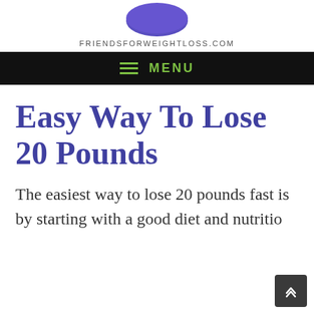[Figure (logo): Purple stylized logo/icon cropped at top of page]
FRIENDSFORWEIGHTLOSS.COM
MENU
Easy Way To Lose 20 Pounds
The easiest way to lose 20 pounds fast is by starting with a good diet and nutritio